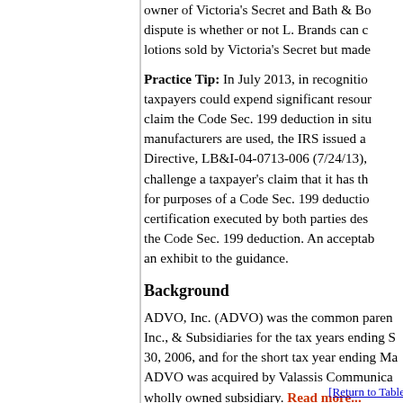owner of Victoria's Secret and Bath & Bo... dispute is whether or not L. Brands can c... lotions sold by Victoria's Secret but made...
Practice Tip: In July 2013, in recognitio... taxpayers could expend significant resour... claim the Code Sec. 199 deduction in situ... manufacturers are used, the IRS issued a... Directive, LB&I-04-0713-006 (7/24/13),... challenge a taxpayer's claim that it has th... for purposes of a Code Sec. 199 deductio... certification executed by both parties des... the Code Sec. 199 deduction. An acceptab... an exhibit to the guidance.
Background
ADVO, Inc. (ADVO) was the common paren... Inc., & Subsidiaries for the tax years ending S... 30, 2006, and for the short tax year ending Ma... ADVO was acquired by Valassis Communica... wholly owned subsidiary. Read more...